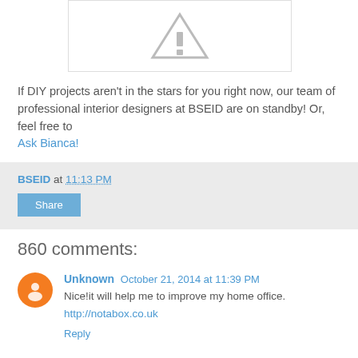[Figure (other): Broken image placeholder icon — triangle with exclamation mark inside a bordered box]
If DIY projects aren't in the stars for you right now, our team of professional interior designers at BSEID are on standby! Or, feel free to Ask Bianca!
BSEID at 11:13 PM
Share
860 comments:
Unknown  October 21, 2014 at 11:39 PM
Nice!it will help me to improve my home office.
http://notabox.co.uk
Reply